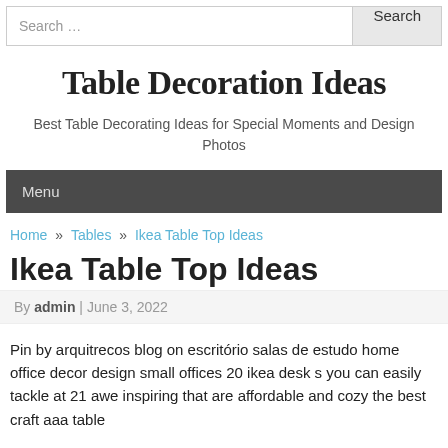Search …  Search
Table Decoration Ideas
Best Table Decorating Ideas for Special Moments and Design Photos
Menu
Home » Tables » Ikea Table Top Ideas
Ikea Table Top Ideas
By admin | June 3, 2022
Pin by arquitrecos blog on escritório salas de estudo home office decor design small offices 20 ikea desk s you can easily tackle at 21 awe inspiring that are affordable and cozy the best craft aaa table